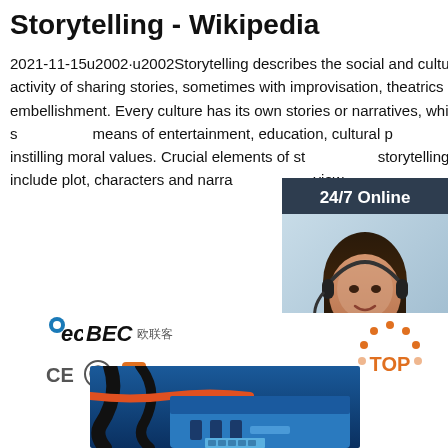Storytelling - Wikipedia
2021-11-15u2002·u2002Storytelling describes the social and cultural activity of sharing stories, sometimes with improvisation, theatrics or embellishment. Every culture has its own stories or narratives, which are shared as a means of entertainment, education, cultural preservation and instilling moral values. Crucial elements of storytelling include plot, characters and narrative point of view.
[Figure (screenshot): Orange 'Get Price' button]
[Figure (infographic): Chat widget with '24/7 Online' header, photo of customer service representative with headset, 'Click here for free chat!' text, and orange QUOTATION button]
[Figure (logo): BEC logo with Chinese characters and CE certification icons]
[Figure (photo): Product photo showing cables and blue industrial equipment]